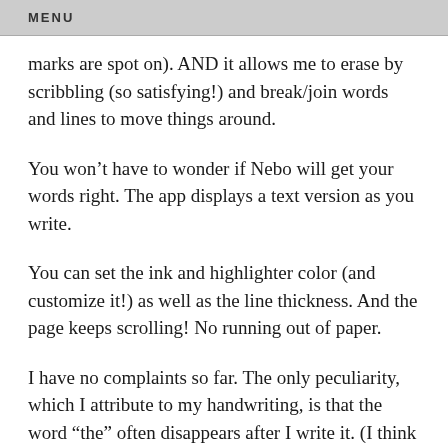MENU
marks are spot on). AND it allows me to erase by scribbling (so satisfying!) and break/join words and lines to move things around.
You won't have to wonder if Nebo will get your words right. The app displays a text version as you write.
You can set the ink and highlighter color (and customize it!) as well as the line thickness. And the page keeps scrolling! No running out of paper.
I have no complaints so far. The only peculiarity, which I attribute to my handwriting, is that the word “the” often disappears after I write it. (I think Nebo believes the crossed T is a strikethrough.)